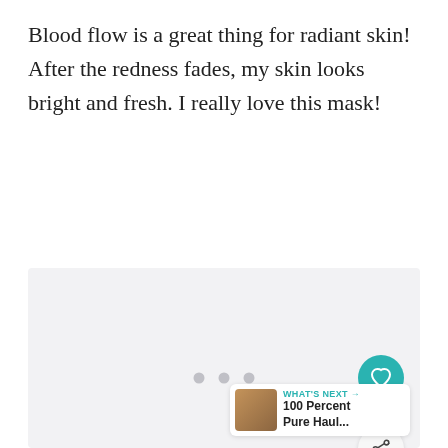Blood flow is a great thing for radiant skin! After the redness fades, my skin looks bright and fresh. I really love this mask!
[Figure (other): A light gray placeholder image area with three small gray dots centered, indicating a loading or carousel state. On the right side there is a teal heart/like button, a count of 14, a share button, and a 'What's Next' card showing '100 Percent Pure Haul...' with a thumbnail image.]